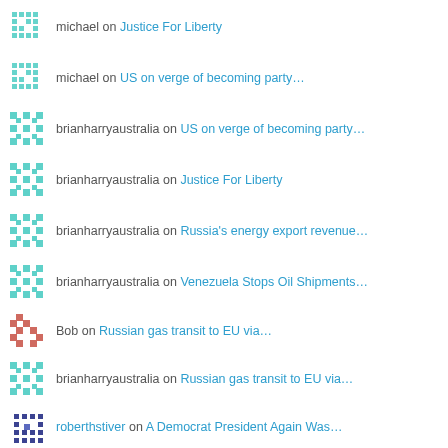michael on Justice For Liberty
michael on US on verge of becoming party…
brianharryaustralia on US on verge of becoming party…
brianharryaustralia on Justice For Liberty
brianharryaustralia on Russia's energy export revenue…
brianharryaustralia on Venezuela Stops Oil Shipments…
Bob on Russian gas transit to EU via…
brianharryaustralia on Russian gas transit to EU via…
roberthstiver on A Democrat President Again Was…
View Full Site